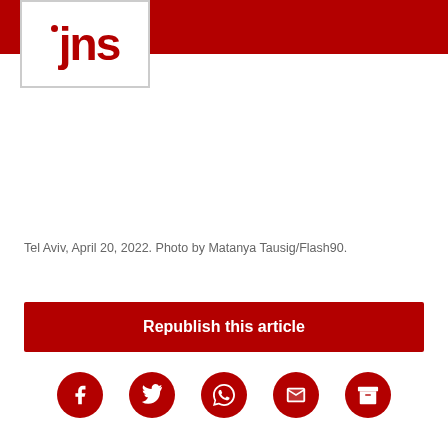JNS
[Figure (photo): Blank/white image area below the JNS header bar]
Tel Aviv, April 20, 2022. Photo by Matanya Tausig/Flash90.
Republish this article
[Figure (other): Social sharing icons: Facebook, Twitter, WhatsApp, Email, Archive]